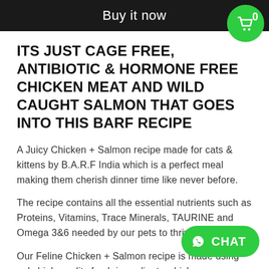Buy it now
ITS JUST CAGE FREE, ANTIBIOTIC & HORMONE FREE CHICKEN MEAT AND WILD CAUGHT SALMON THAT GOES INTO THIS BARF RECIPE
A Juicy Chicken + Salmon recipe made for cats & kittens by B.A.R.F India which is a perfect meal making them cherish dinner time like never before.
The recipe contains all the essential nutrients such as Proteins, Vitamins, Trace Minerals, TAURINE and Omega 3&6 needed by our pets to thrive.
Our Feline Chicken + Salmon recipe is made using only high-quality fresh ingredients which are responsibly sourced. Our carefully crafted formulas provide your pets w and nutritious meal which they will not be ab